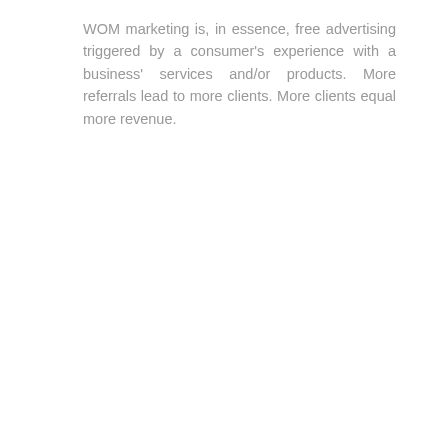WOM marketing is, in essence, free advertising triggered by a consumer's experience with a business' services and/or products. More referrals lead to more clients. More clients equal more revenue.